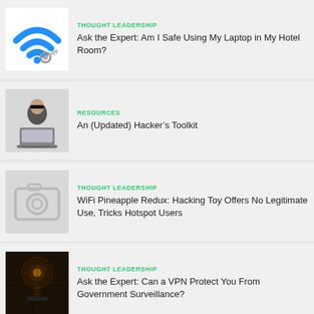[Figure (illustration): WiFi signal icon with a key lock, blue colored]
THOUGHT LEADERSHIP
Ask the Expert: Am I Safe Using My Laptop in My Hotel Room?
[Figure (illustration): Stylized hacker figure in black clothing and mask sitting at a laptop]
RESOURCES
An (Updated) Hacker's Toolkit
[Figure (illustration): Camera/photo icon on gray background]
THOUGHT LEADERSHIP
WiFi Pineapple Redux: Hacking Toy Offers No Legitimate Use, Tricks Hotspot Users
[Figure (photo): Dark dramatic photo of surveillance camera against digital background]
THOUGHT LEADERSHIP
Ask the Expert: Can a VPN Protect You From Government Surveillance?
[Figure (photo): Dark hooded hacker figure with red lighting]
RESOURCES
How WiFi Hacks Occur (Updated)